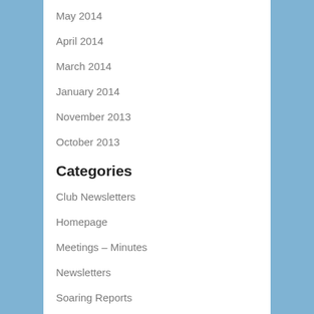May 2014
April 2014
March 2014
January 2014
November 2013
October 2013
Categories
Club Newsletters
Homepage
Meetings – Minutes
Newsletters
Soaring Reports
Uncategorized